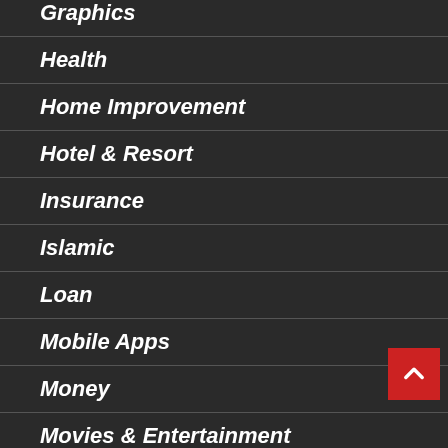Graphics
Health
Home Improvement
Hotel & Resort
Insurance
Islamic
Loan
Mobile Apps
Money
Movies & Entertainment
Movies & Videos
News